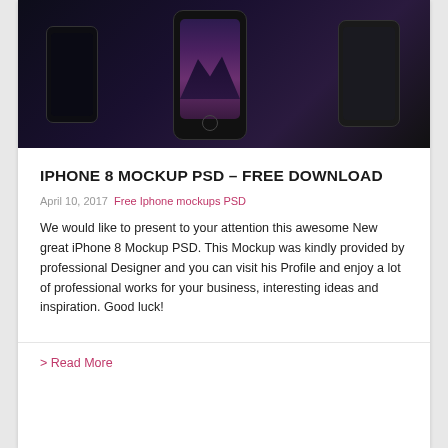[Figure (photo): iPhone 8 mockup showing three phones with dark backgrounds — left phone with app icons, center phone with mountain lock screen wallpaper, right phone with dark decorative wallpaper]
IPHONE 8 MOCKUP PSD – FREE DOWNLOAD
April 10, 2017  Free Iphone mockups PSD
We would like to present to your attention this awesome New great iPhone 8 Mockup PSD. This Mockup was kindly provided by professional Designer and you can visit his Profile and enjoy a lot of professional works for your business, interesting ideas and inspiration. Good luck!
> Read More